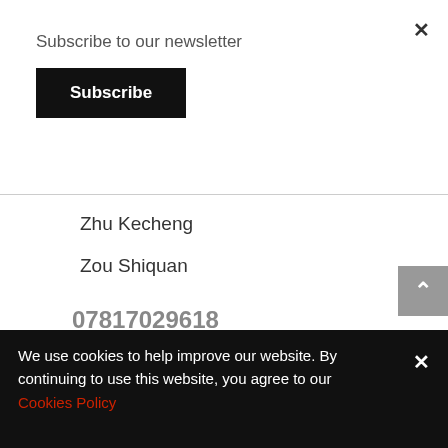×
Subscribe to our newsletter
Subscribe
Zhu Kecheng
Zou Shiquan
07817029618
info@artchinauk.com
Cambridge UK
We use cookies to help improve our website. By continuing to use this website, you agree to our Cookies Policy
×